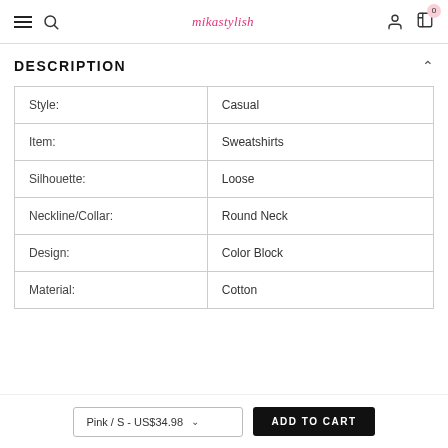mikastylish
DESCRIPTION
| Attribute | Value |
| --- | --- |
| Style: | Casual |
| Item: | Sweatshirts |
| Silhouette: | Loose |
| Neckline/Collar: | Round Neck |
| Design: | Color Block |
| Material: | Cotton |
Pink / S - US$34.98
ADD TO CART